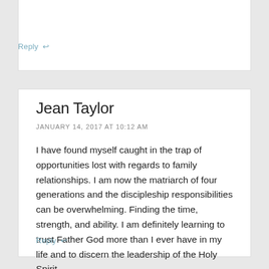Reply ↩
Jean Taylor
JANUARY 14, 2017 AT 10:12 AM
I have found myself caught in the trap of opportunities lost with regards to family relationships. I am now the matriarch of four generations and the discipleship responsibilities can be overwhelming. Finding the time, strength, and ability. I am definitely learning to trust Father God more than I ever have in my life and to discern the leadership of the Holy Spirit.
Reply ↩